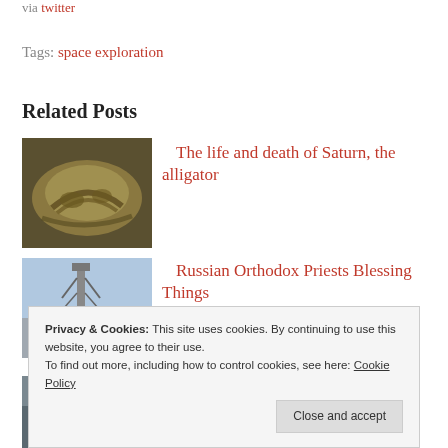via twitter
Tags: space exploration
Related Posts
[Figure (photo): Close-up photo of an alligator]
The life and death of Saturn, the alligator
[Figure (photo): Photo of a rocket launch tower with a person in the foreground]
Russian Orthodox Priests Blessing Things
[Figure (photo): Partially visible photo at bottom of page]
Privacy & Cookies: This site uses cookies. By continuing to use this website, you agree to their use.
To find out more, including how to control cookies, see here: Cookie Policy
Close and accept